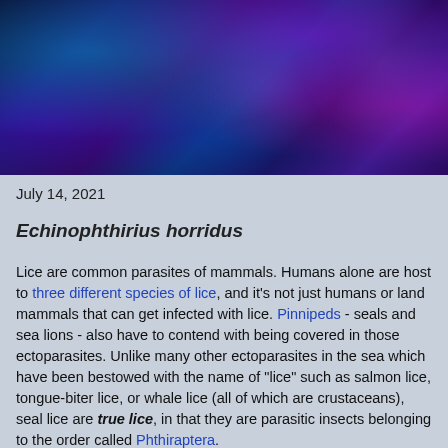[Figure (photo): Abstract colorful bokeh background with blue, purple, and magenta glowing light streaks and orbs on dark background, serving as the blog header banner]
Parasite of the Day
July 14, 2021
Echinophthirius horridus
Lice are common parasites of mammals. Humans alone are host to three different species of lice, and it's not just humans or land mammals that can get infected with lice. Pinnipeds - seals and sea lions - also have to contend with being covered in those ectoparasites. Unlike many other ectoparasites in the sea which have been bestowed with the name of "lice" such as salmon lice, tongue-biter lice, or whale lice (all of which are crustaceans), seal lice are true lice, in that they are parasitic insects belonging to the order called Phthiraptera.